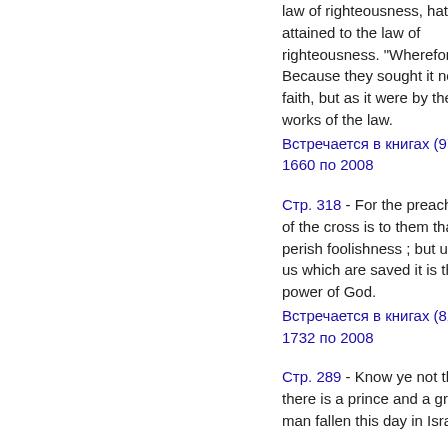law of righteousness, hath not attained to the law of righteousness. "Wherefore? Because they sought it not by faith, but as it were by the works of the law.
Встречается в книгах (974) с 1660 по 2008
Стр. 318 - For the preaching of the cross is to them that perish foolishness ; but unto us which are saved it is the power of God.
Встречается в книгах (823) с 1732 по 2008
Стр. 289 - Know ye not that there is a prince and a great man fallen this day in Israel?